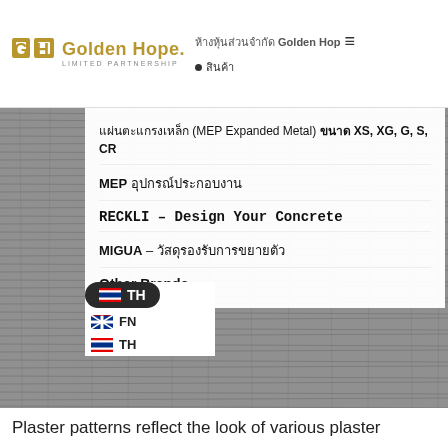Golden Hope. LIMITED PARTNERSHIP — ห้างหุ้นส่วนจำกัด Golden Hope ≡ • สินค้า
[Figure (screenshot): Website navigation screenshot showing Golden Hope Limited Partnership logo, Thai navigation menu, and textured concrete/plaster background image with dropdown menu overlay showing product categories: MEP Expanded Metal types XS, XG, G, S, CR; MEP product lines; RECKLI – Design Your Concrete; MIGUA – expansion joint products; Other Brands. Language switcher showing TH/EN/TH options at bottom left.]
Plaster patterns reflect the look of various plaster